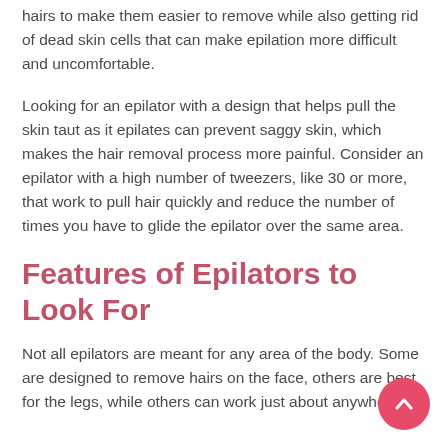hairs to make them easier to remove while also getting rid of dead skin cells that can make epilation more difficult and uncomfortable.
Looking for an epilator with a design that helps pull the skin taut as it epilates can prevent saggy skin, which makes the hair removal process more painful. Consider an epilator with a high number of tweezers, like 30 or more, that work to pull hair quickly and reduce the number of times you have to glide the epilator over the same area.
Features of Epilators to Look For
Not all epilators are meant for any area of the body. Some are designed to remove hairs on the face, others are best for the legs, while others can work just about anywhere.